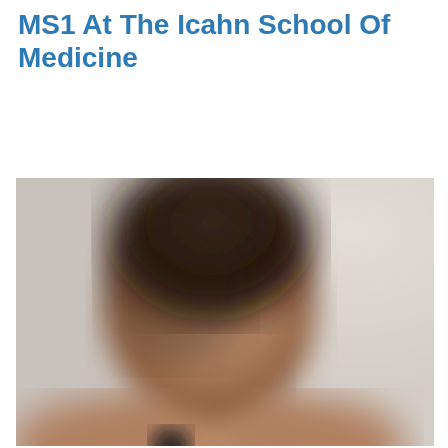MS1 At The Icahn School Of Medicine
[Figure (photo): A blurred/privacy-protected portrait photo of a person, showing head and upper body against a light background. The face and identifying features are intentionally blurred.]